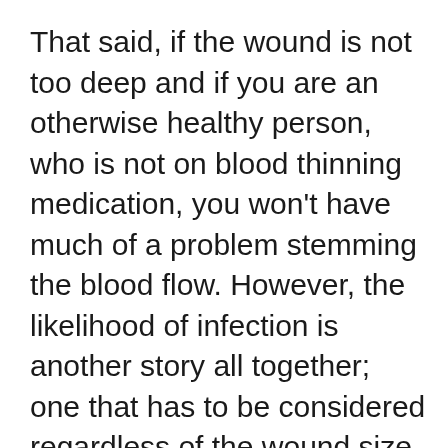That said, if the wound is not too deep and if you are an otherwise healthy person, who is not on blood thinning medication, you won't have much of a problem stemming the blood flow. However, the likelihood of infection is another story all together; one that has to be considered regardless of the wound size and your health.